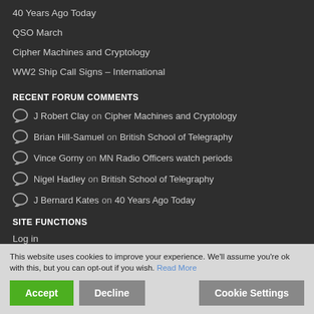40 Years Ago Today
QSO March
Cipher Machines and Cryptology
WW2 Ship Call Signs – International
RECENT FORUM COMMENTS
J Robert Clay on Cipher Machines and Cryptology
Brian Hill-Samuel on British School of Telegraphy
Vince Gorny on MN Radio Officers watch periods
Nigel Hadley on British School of Telegraphy
J Bernard Kates on 40 Years Ago Today
SITE FUNCTIONS
Log in
Entries feed
WordPress.org
This website uses cookies to improve your experience. We'll assume you're ok with this, but you can opt-out if you wish. Read More
Accept | Decline | Cookie Settings